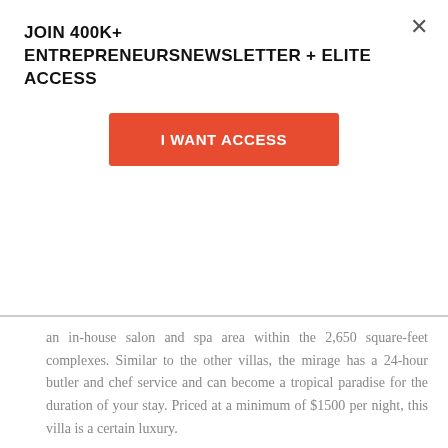JOIN 400K+ ENTREPRENEURSNEWSLETTER + ELITE ACCESS
I WANT ACCESS
an in-house salon and spa area within the 2,650 square-feet complexes. Similar to the other villas, the mirage has a 24-hour butler and chef service and can become a tropical paradise for the duration of your stay. Priced at a minimum of $1500 per night, this villa is a certain luxury.
6. THE VENETIAN'S CHAIRMAN SUITE
[Figure (photo): Interior photo of The Venetian's Chairman Suite showing warm-lit corridor with wooden paneling and stone wall textures]